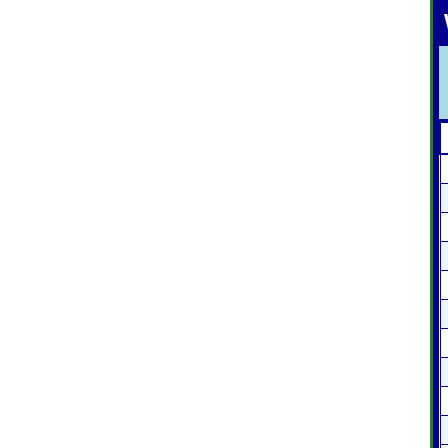What Minerals Are In
| Minerals | ppm |
| --- | --- |
| Magnesium Chloride | 31.5 % |
| Sodium Chloride | .42 % |
| Potassium Chloride | .32 |
| Calcium | 71.1 |
| Iron | 05.14 |
| Manganese | 01.01 |
| Antimony | 00.224 |
| Barium | 00.209 |
| Copper | 00.1 |
| Molybdenum | 00.161 |
| Selenium | 008.06 |
| Zinc | 00.206 |
|  |  |
|  |  |